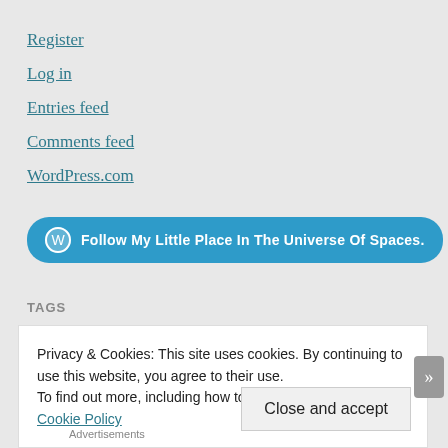Register
Log in
Entries feed
Comments feed
WordPress.com
[Figure (other): Follow button with WordPress logo: Follow My Little Place In The Universe Of Spaces.]
TAGS
Privacy & Cookies: This site uses cookies. By continuing to use this website, you agree to their use.
To find out more, including how to control cookies, see here: Cookie Policy
Close and accept
Advertisements